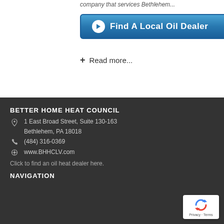company that services Bethlehem...
[Figure (other): Blue button with white circle arrow icon and text 'Find A Local Oil Dealer']
+ Read more...
BETTER HOME HEAT COUNCIL
1 East Broad Street, Suite 130-163
Bethlehem, PA 18018
(484) 316-0369
www.BHHCLV.com
Click to find an oil heat dealer here.
NAVIGATION